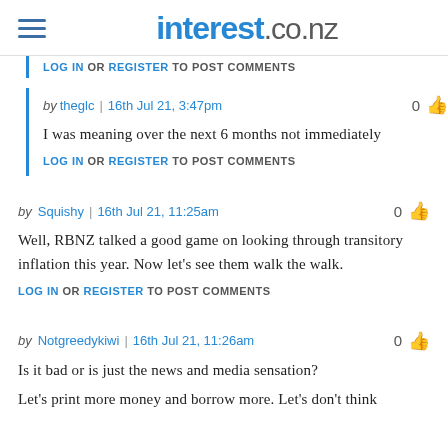interest.co.nz
LOG IN OR REGISTER TO POST COMMENTS
by theglc | 16th Jul 21, 3:47pm
I was meaning over the next 6 months not immediately
LOG IN OR REGISTER TO POST COMMENTS
by Squishy | 16th Jul 21, 11:25am
Well, RBNZ talked a good game on looking through transitory inflation this year. Now let's see them walk the walk.
LOG IN OR REGISTER TO POST COMMENTS
by Notgreedykiwi | 16th Jul 21, 11:26am
Is it bad or is just the news and media sensation?
Let's print more money and borrow more. Let's don't think